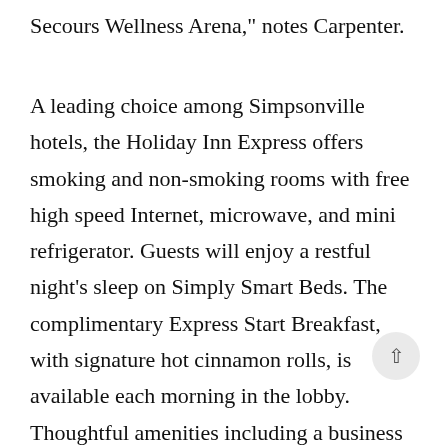Secours Wellness Arena," notes Carpenter.
A leading choice among Simpsonville hotels, the Holiday Inn Express offers smoking and non-smoking rooms with free high speed Internet, microwave, and mini refrigerator. Guests will enjoy a restful night's sleep on Simply Smart Beds. The complimentary Express Start Breakfast, with signature hot cinnamon rolls, is available each morning in the lobby. Thoughtful amenities including a business center, fitness center, and coin laundry are designed with guests' comfort in mind. The Holiday Inn Express is convenient to many area attractions including Charter Spectrum Amphitheatre, Great Escape IMAX Theatre, and Falls in downtown Greenville.